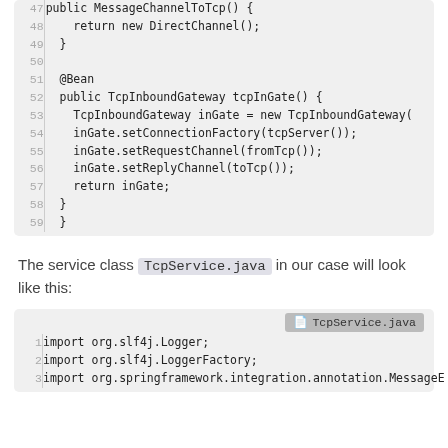[Figure (screenshot): Code block showing Java lines 47-59 with line numbers, including MessageChannelToTcp, DirectChannel, Bean annotation, TcpInboundGateway setup]
The service class TcpService.java in our case will look like this:
[Figure (screenshot): Code block labeled TcpService.java showing lines 1-3 with import statements for org.slf4j.Logger, org.slf4j.LoggerFactory, and org.springframework.integration.annotation.MessageE...]